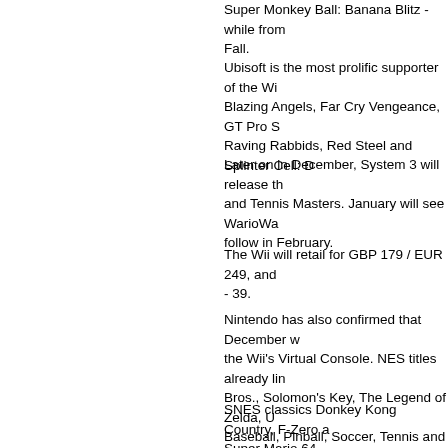Super Monkey Ball: Banana Blitz - while from  Fall.
Ubisoft is the most prolific supporter of the Wii  Blazing Angels, Far Cry Vengeance, GT Pro Se Raving Rabbids, Red Steel and Splinter Cell: D
Later on in December, System 3 will release th and Tennis Masters. January will see WarioWa follow in February.
The Wii will retail for GBP 179 / EUR 249, and - 39.
Nintendo has also confirmed that December w the Wii's Virtual Console. NES titles already lin Bros., Solomon's Key, The Legend of Zelda, U Baseball, Pinball, Soccer, Tennis and Ice Hock
SNES classics Donkey Kong Country, F-Zero a Super Mario 64.
Sega's European VC line-up includes Sonic the Gunstar Heroes, plus Ecco the Dolphin, Space Mean Bean Machine.
Hudson is planning to release five Turbografx t Bomberman '93 and Dungeon Explorer.